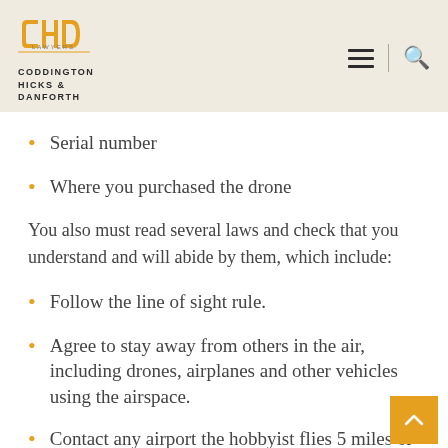[Figure (logo): Coddington Hicks & Danforth Lawyers logo with stylized CHD letters in orange/gold and firm name below]
Serial number
Where you purchased the drone
You also must read several laws and check that you understand and will abide by them, which include:
Follow the line of sight rule.
Agree to stay away from others in the air, including drones, airplanes and other vehicles using the airspace.
Contact any airport the hobbyist flies 5 miles or